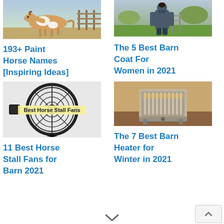[Figure (photo): A paint horse running along a fence outdoors]
[Figure (photo): A woman in a barn coat standing at a farm gate, seen from behind]
193+ Paint Horse Names [Inspiring Ideas]
The 5 Best Barn Coat For Women in 2021
[Figure (photo): Close-up of a large industrial floor fan with text overlay 'Best Horse Stall Fans']
[Figure (photo): A barn heater/space heater sitting on a surface indoors]
11 Best Horse Stall Fans for Barn 2021
The 7 Best Barn Heater for Winter in 2021